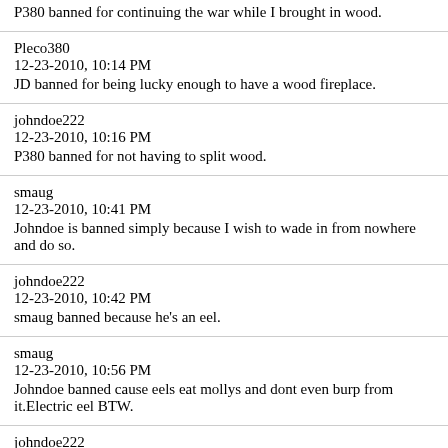P380 banned for continuing the war while I brought in wood.
Pleco380
12-23-2010, 10:14 PM
JD banned for being lucky enough to have a wood fireplace.
johndoe222
12-23-2010, 10:16 PM
P380 banned for not having to split wood.
smaug
12-23-2010, 10:41 PM
Johndoe is banned simply because I wish to wade in from nowhere and do so.
johndoe222
12-23-2010, 10:42 PM
smaug banned because he's an eel.
smaug
12-23-2010, 10:56 PM
Johndoe banned cause eels eat mollys and dont even burp from it.Electric eel BTW.
johndoe222
12-23-2010, 10:59 PM